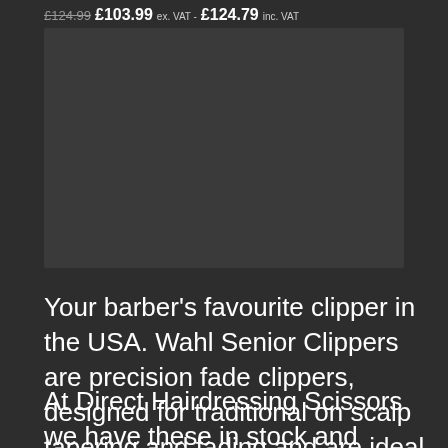£124.99 £103.99 ex. VAT - £124.79 inc. VAT
[Figure (photo): Dark grey image placeholder area for product photo]
Your barber's favourite clipper in the USA. Wahl Senior Clippers are precision fade clippers, designed for traditional on scalp tapering and fading and are ideal for clipper over comb work.
At Direct Hairdressing Scissors we have these in stock and available for immediate dispatch. You